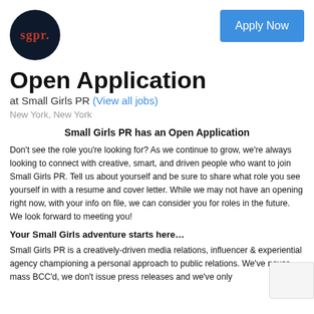[Figure (logo): SGPR circular logo with dark navy background and red/white text]
[Figure (other): Blue 'Apply Now' button]
Open Application
at Small Girls PR (View all jobs)
New York, New York
Small Girls PR has an Open Application
Don't see the role you're looking for? As we continue to grow, we're always looking to connect with creative, smart, and driven people who want to join Small Girls PR. Tell us about yourself and be sure to share what role you see yourself in with a resume and cover letter. While we may not have an opening right now, with your info on file, we can consider you for roles in the future. We look forward to meeting you!
Your Small Girls adventure starts here…
Small Girls PR is a creatively-driven media relations, influencer & experiential agency championing a personal approach to public relations. We've never mass BCC'd, we don't issue press releases and we've only